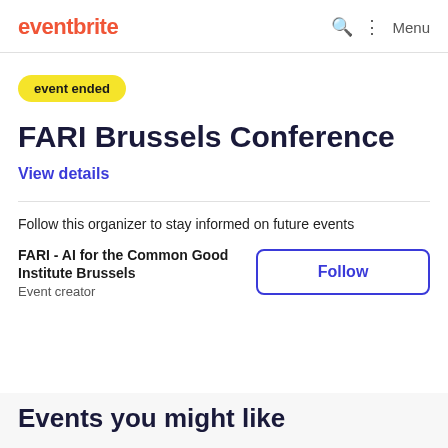eventbrite
event ended
FARI Brussels Conference
View details
Follow this organizer to stay informed on future events
FARI - AI for the Common Good Institute Brussels
Event creator
Follow
Events you might like